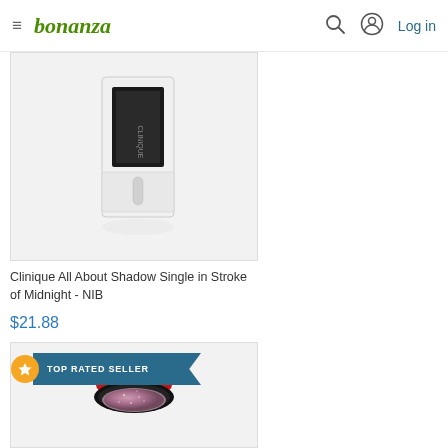bonanza — Log in
[Figure (photo): Clinique All About Shadow Single in Stroke of Midnight eyeshadow compact with applicator brush, white and black packaging]
Clinique All About Shadow Single in Stroke of Midnight - NIB
$21.88
[Figure (photo): MAC cosmetics glitter eyeshadow pan with red cap/lid, sparkly mauve/pink shade, top rated seller badge]
TOP RATED SELLER